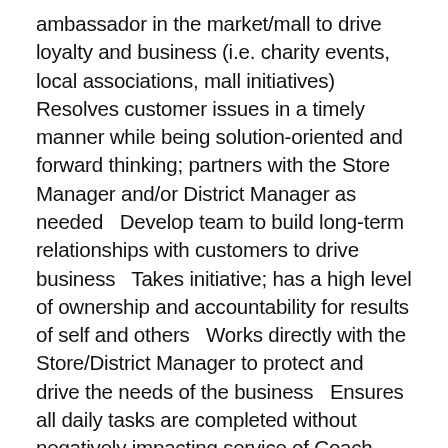ambassador in the market/mall to drive loyalty and business (i.e. charity events, local associations, mall initiatives)   Resolves customer issues in a timely manner while being solution-oriented and forward thinking; partners with the Store Manager and/or District Manager as needed   Develop team to build long-term relationships with customers to drive business   Takes initiative; has a high level of ownership and accountability for results of self and others   Works directly with the Store/District Manager to protect and drive the needs of the business   Ensures all daily tasks are completed without negatively impacting service of Coach standards   Approaches challenges in direct and timely manner and takes action to course correct in the moment, when appropriate   Builds trusting relationships with peers and team; acts as advocate for the Brand   Welcomes feedback and